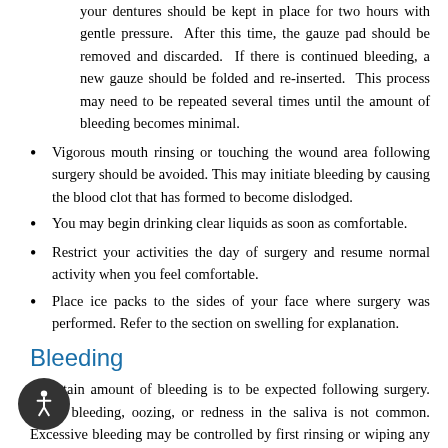your dentures should be kept in place for two hours with gentle pressure.  After this time, the gauze pad should be removed and discarded.  If there is continued bleeding, a new gauze should be folded and re-inserted.  This process may need to be repeated several times until the amount of bleeding becomes minimal.
Vigorous mouth rinsing or touching the wound area following surgery should be avoided. This may initiate bleeding by causing the blood clot that has formed to become dislodged.
You may begin drinking clear liquids as soon as comfortable.
Restrict your activities the day of surgery and resume normal activity when you feel comfortable.
Place ice packs to the sides of your face where surgery was performed. Refer to the section on swelling for explanation.
Bleeding
A certain amount of bleeding is to be expected following surgery. Slight bleeding, oozing, or redness in the saliva is not common. Excessive bleeding may be controlled by first rinsing or wiping any old clots from your mouth, then placing a